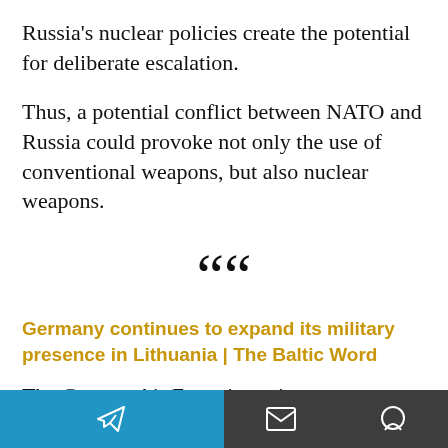Russia's nuclear policies create the potential for deliberate escalation.
Thus, a potential conflict between NATO and Russia could provoke not only the use of conventional weapons, but also nuclear weapons.
““
Germany continues to expand its military presence in Lithuania | The Baltic Word
The German Air Force is setting up a Deployable Control and Reporting
Telegram | Email | Chat